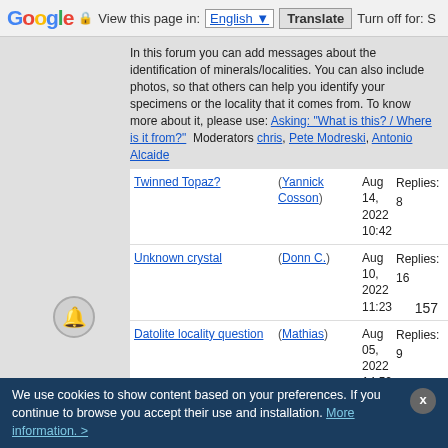Google | View this page in: English [▼] | Translate | Turn off for: S
In this forum you can add messages about the identification of minerals/localities. You can also include photos, so that others can help you identify your specimens or the locality that it comes from. To know more about it, please use: Asking: "What is this? / Where is it from?"  Moderators chris, Pete Modreski, Antonio Alcaide
| Topic | Author | Date | Replies | Views |
| --- | --- | --- | --- | --- |
| Twinned Topaz? | (Yannick Cosson) | Aug 14, 2022 10:42 | Replies: 8 | Views: 1603 |
| Unknown crystal | (Donn C.) | Aug 10, 2022 11:23 | Replies: 16 | Views: 848 |
| Datolite locality question | (Mathias) | Aug 05, 2022 14:50 | Replies: 9 | Views: 879 |
| Unknown garnet | (Roger Warin) | Aug 01, 2022 23:43 | Replies: 8 | Views: 1246 |
| Question about Aquamarine | (Roger Warin) | Aug 01, 2022 23:37 | Replies: 5 | Views: 704 |
| Linarite | (Forrestblyth) | Jun 30, 2022 16:27 | Replies: 1 | Views: 439 |
| Quartz confusion | (Nirvash Heera) | Jun 28, 2022 03:13 | Replies: 2 | Views: 646 |
157
We use cookies to show content based on your preferences. If you continue to browse you accept their use and installation. More information. >